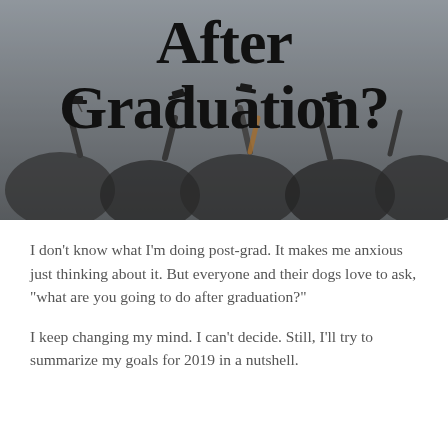[Figure (photo): Graduation ceremony photo showing students in caps and gowns throwing their caps in the air, with large bold text overlay reading 'After Graduation?']
I don't know what I'm doing post-grad. It makes me anxious just thinking about it. But everyone and their dogs love to ask, “what are you going to do after graduation?”
I keep changing my mind. I can’t decide. Still, I’ll try to summarize my goals for 2019 in a nutshell.